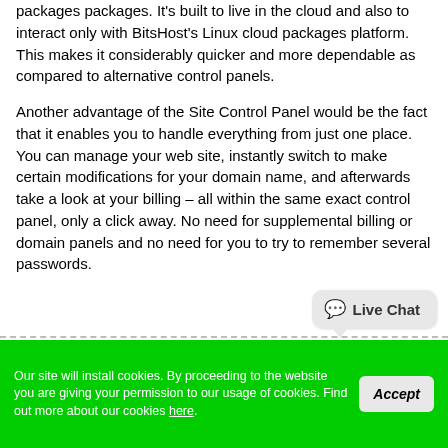packages packages. It's built to live in the cloud and also to interact only with BitsHost's Linux cloud packages platform. This makes it considerably quicker and more dependable as compared to alternative control panels.
Another advantage of the Site Control Panel would be the fact that it enables you to handle everything from just one place. You can manage your web site, instantly switch to make certain modifications for your domain name, and afterwards take a look at your billing – all within the same exact control panel, only a click away. No need for supplemental billing or domain panels and no need for you to try to remember several passwords.
[Figure (other): Live Chat button bubble widget in bottom right area]
Our site will install cookies. By proceeding to the website you are giving your permission to our usage of cookies. Find out more about our cookies here.